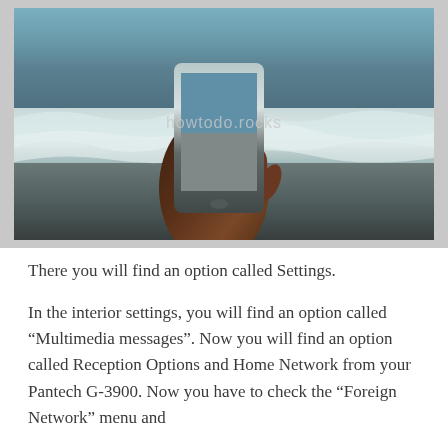[Figure (photo): A hand holding a smartphone against a beach background with ocean waves; watermark text reads 'howtodo.rocks' overlaid on the image.]
There you will find an option called Settings.
In the interior settings, you will find an option called “Multimedia messages”. Now you will find an option called Reception Options and Home Network from your Pantech G-3900. Now you have to check the “Foreign Network” menu and